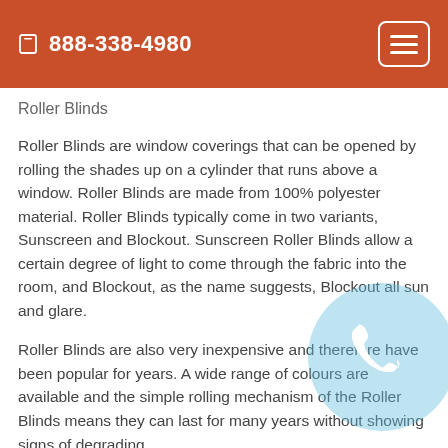📱 888-338-4980
Roller Blinds
Roller Blinds are window coverings that can be opened by rolling the shades up on a cylinder that runs above a window. Roller Blinds are made from 100% polyester material. Roller Blinds typically come in two variants, Sunscreen and Blockout. Sunscreen Roller Blinds allow a certain degree of light to come through the fabric into the room, and Blockout, as the name suggests, Blockout all sun and glare.
Roller Blinds are also very inexpensive and therefore have been popular for years. A wide range of colours are available and the simple rolling mechanism of the Roller Blinds means they can last for many years without showing signs of degrading.